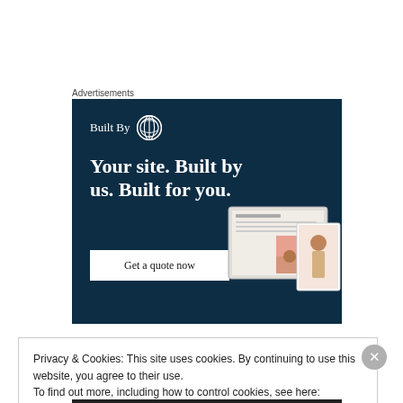Advertisements
[Figure (illustration): WordPress 'Built By' advertisement banner with dark navy background. Shows 'Built By' with WordPress logo, headline 'Your site. Built by us. Built for you.', a 'Get a quote now' button, and a mockup of a website with fashion photos.]
Privacy & Cookies: This site uses cookies. By continuing to use this website, you agree to their use.
To find out more, including how to control cookies, see here:
Cookie Policy
Close and accept